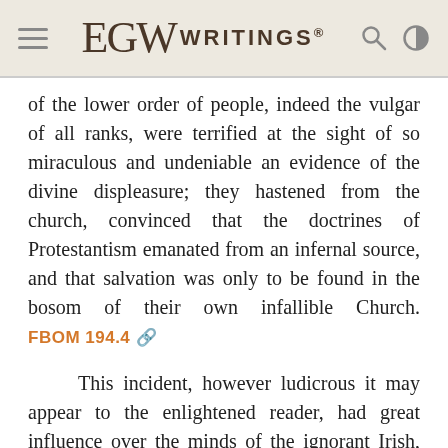EGW WRITINGS®
of the lower order of people, indeed the vulgar of all ranks, were terrified at the sight of so miraculous and undeniable an evidence of the divine displeasure; they hastened from the church, convinced that the doctrines of Protestantism emanated from an infernal source, and that salvation was only to be found in the bosom of their own infallible Church. FBOM 194.4
This incident, however ludicrous it may appear to the enlightened reader, had great influence over the minds of the ignorant Irish, and answered the ends of the impudent impostors who contrived it, so far as to check the progress of the reformed religion in Ireland very materially; many persons could not